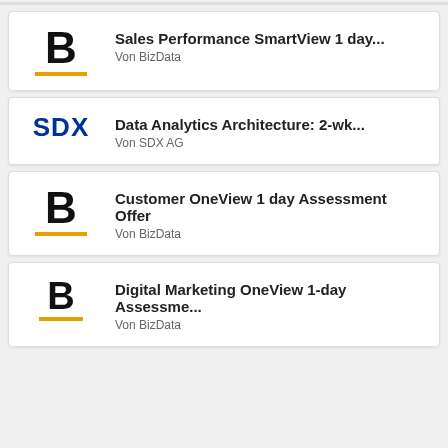Sales Performance SmartView 1 day... Von BizData
Data Analytics Architecture: 2-wk... Von SDX AG
Customer OneView 1 day Assessment Offer Von BizData
Digital Marketing OneView 1-day Assessme... Von BizData